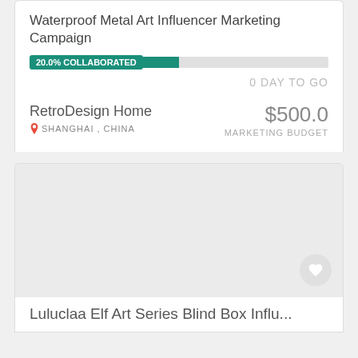Waterproof Metal Art Influencer Marketing Campaign
20.0% COLLABORATED
0 DAY TO GO
RetroDesign Home
SHANGHAI , CHINA
$500.0
MARKETING BUDGET
[Figure (screenshot): Gray placeholder image for a second campaign card with a heart/favorite button in the bottom right corner]
Luluclaa Elf Art Series Blind Box Influ...